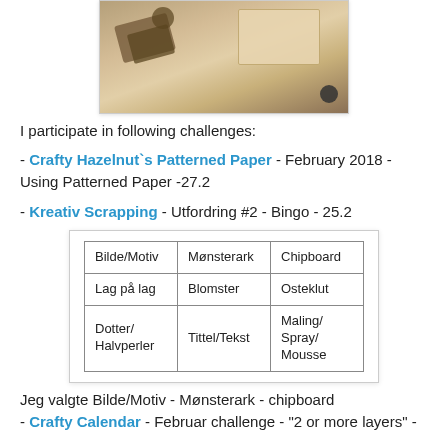[Figure (photo): Photo of a scrapbooking/craft project showing keys with tags, decorative elements, and patterned paper]
I participate in following challenges:
- Crafty Hazelnut`s Patterned Paper - February 2018 - Using Patterned Paper -27.2
- Kreativ Scrapping - Utfordring #2 - Bingo - 25.2
| Bilde/Motiv | Mønsterark | Chipboard |
| --- | --- | --- |
| Lag på lag | Blomster | Osteklut |
| Dotter/Halvperler | Tittel/Tekst | Maling/Spray/Mousse |
Jeg valgte Bilde/Motiv - Mønsterark - chipboard
- Crafty Calendar - Februar challenge - "2 or more layers" -